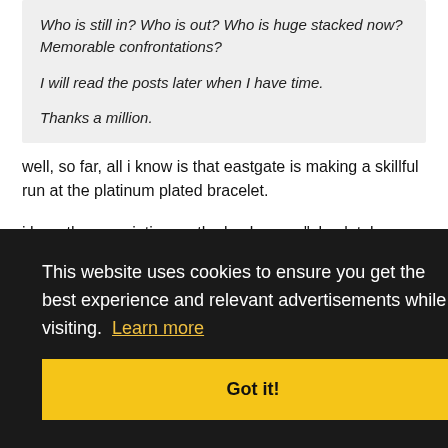Who is still in? Who is out? Who is huge stacked now? Memorable confrontations?

I will read the posts later when I have time.

Thanks a million.
well, so far, all i know is that eastgate is making a skillful run at the platinum plated bracelet.
i hear the enscription on the back says, "absolutely no luck at all"
This website uses cookies to ensure you get the best experience and relevant advertisements while visiting. Learn more
Got it!
#1213
$3 on stars if anyone can do it well in the next 5 minutes!